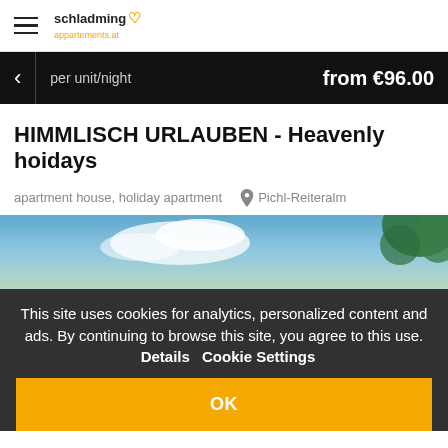schladming appartements.at — per unit/night — from €96.00
HIMMLISCH URLAUBEN - Heavenly hoidays
apartment house, holiday apartment  Pichl-Reiteralm
[Figure (photo): Blue sky with clouds and green tree foliage in the background]
This site uses cookies for analytics, personalized content and ads. By continuing to browse this site, you agree to this use.  Details  Cookie Settings
OK